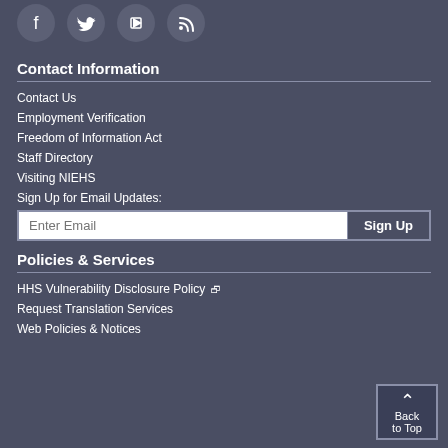[Figure (illustration): Social media icons row: Facebook, Twitter, YouTube, RSS feed — white icons on dark circular backgrounds]
Contact Information
Contact Us
Employment Verification
Freedom of Information Act
Staff Directory
Visiting NIEHS
Sign Up for Email Updates:
Enter Email / Sign Up button
Policies & Services
HHS Vulnerability Disclosure Policy (external link)
Request Translation Services
Web Policies & Notices